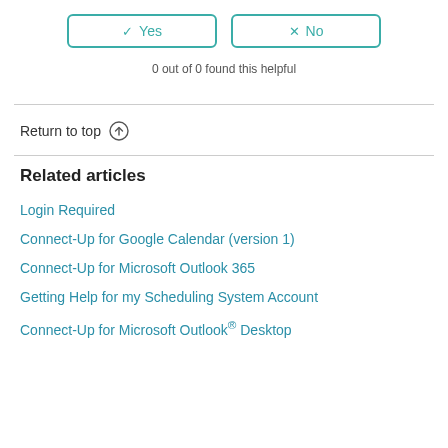[Figure (other): Yes and No feedback buttons with checkmark and X icons, teal colored borders]
0 out of 0 found this helpful
Return to top ↑
Related articles
Login Required
Connect-Up for Google Calendar (version 1)
Connect-Up for Microsoft Outlook 365
Getting Help for my Scheduling System Account
Connect-Up for Microsoft Outlook® Desktop